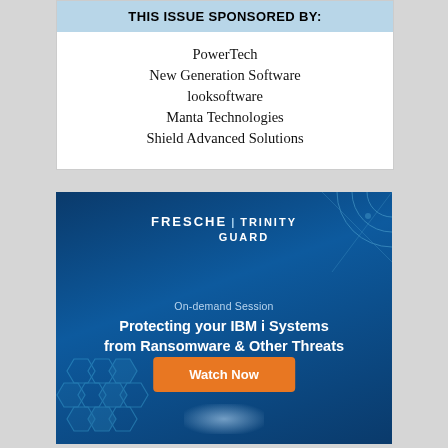THIS ISSUE SPONSORED BY:
PowerTech
New Generation Software
looksoftware
Manta Technologies
Shield Advanced Solutions
[Figure (infographic): Fresche Trinity Guard advertisement banner with dark blue background, hexagonal patterns, and text: On-demand Session - Protecting your IBM i Systems from Ransomware & Other Threats - Watch Now button in orange]